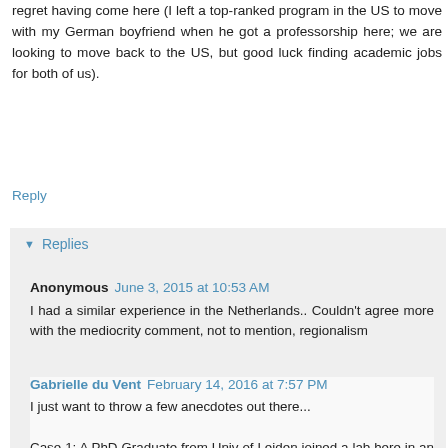regret having come here (I left a top-ranked program in the US to move with my German boyfriend when he got a professorship here; we are looking to move back to the US, but good luck finding academic jobs for both of us).
Reply
▼ Replies
Anonymous  June 3, 2015 at 10:53 AM
I had a similar experience in the Netherlands.. Couldn't agree more with the mediocrity comment, not to mention, regionalism
Gabrielle du Vent  February 14, 2016 at 7:57 PM
I just want to throw a few anecdotes out there...

Case 1: A PhD Graduate from Univ of Leiden joined a lab here in an US university. The lab prof loved him, but could not give him a post, due to his European PhD, not an American one. The